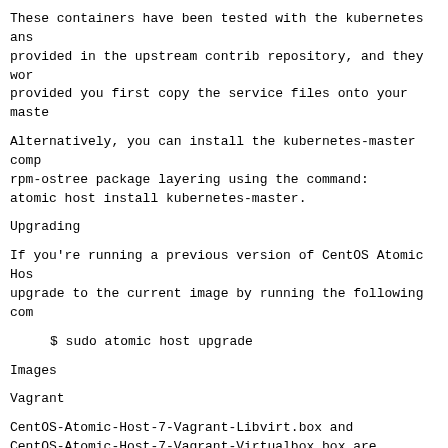These containers have been tested with the kubernetes ans provided in the upstream contrib repository, and they wor provided you first copy the service files onto your maste
Alternatively, you can install the kubernetes-master comp rpm-ostree package layering using the command:
atomic host install kubernetes-master.
Upgrading
If you're running a previous version of CentOS Atomic Hos upgrade to the current image by running the following com
$ sudo atomic host upgrade
Images
Vagrant
CentOS-Atomic-Host-7-Vagrant-Libvirt.box and CentOS-Atomic-Host-7-Vagrant-Virtualbox.box are Vagrant b Libvirt and Virtualbox providers.
The easiest way to consume these images is via the Atlas setup (see https://atlas.hashicorp.com/centos/boxes/atom example, getting the VirtualBox instance up would involve following two commands on a machine with vagrant installe